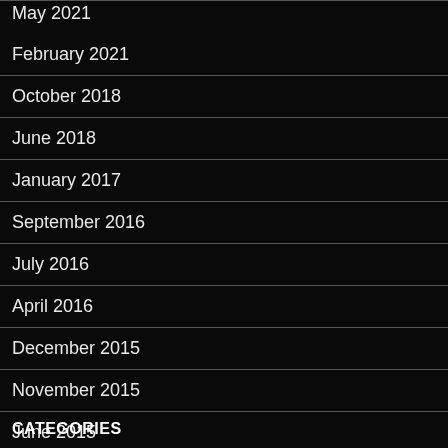May 2021
February 2021
October 2018
June 2018
January 2017
September 2016
July 2016
April 2016
December 2015
November 2015
June 2015
CATEGORIES